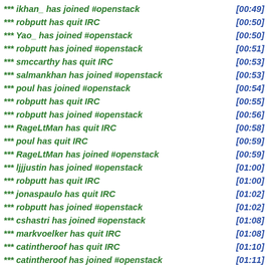*** ikhan_ has joined #openstack [00:49]
*** robputt has quit IRC [00:50]
*** Yao_ has joined #openstack [00:50]
*** robputt has joined #openstack [00:51]
*** smccarthy has quit IRC [00:53]
*** salmankhan has joined #openstack [00:53]
*** poul has joined #openstack [00:54]
*** robputt has quit IRC [00:55]
*** robputt has joined #openstack [00:56]
*** RageLtMan has quit IRC [00:58]
*** poul has quit IRC [00:59]
*** RageLtMan has joined #openstack [00:59]
*** ljjjustin has joined #openstack [01:00]
*** robputt has quit IRC [01:00]
*** jonaspaulo has quit IRC [01:02]
*** robputt has joined #openstack [01:02]
*** cshastri has joined #openstack [01:08]
*** markvoelker has quit IRC [01:08]
*** catintheroof has quit IRC [01:10]
*** catintheroof has joined #openstack [01:11]
*** poul has joined #openstack [01:11]
*** liverpooler has joined #openstack [01:13]